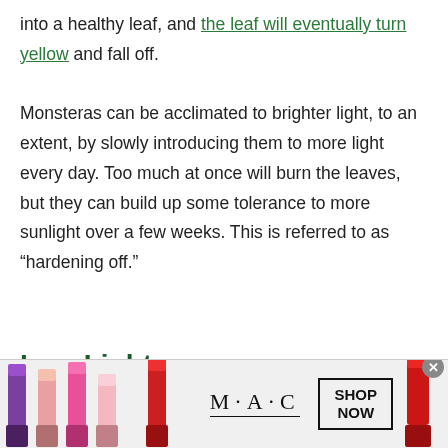into a healthy leaf, and the leaf will eventually turn yellow and fall off.
Monsteras can be acclimated to brighter light, to an extent, by slowly introducing them to more light every day. Too much at once will burn the leaves, but they can build up some tolerance to more sunlight over a few weeks. This is referred to as “hardening off.”
Low Light
[Figure (photo): Advertisement banner for MAC cosmetics showing colorful lipsticks on the left and right sides, MAC logo in the center with an underline, and a 'SHOP NOW' box. A close/dismiss button is in the top right corner.]